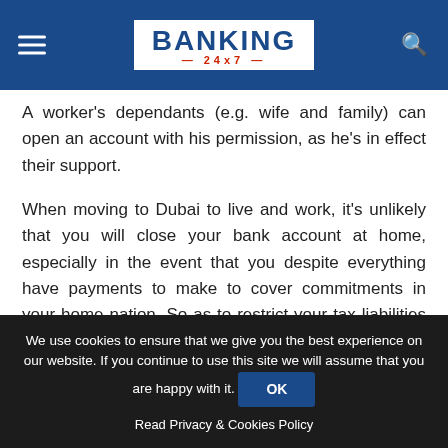BANKING 24x7
A worker's dependants (e.g. wife and family) can open an account with his permission, as he's in effect their support.
When moving to Dubai to live and work, it's unlikely that you will close your bank account at home, especially in the event that you despite everything have payments to make to cover commitments in your home nation. So as to restrict your tax liabilities there, however, the funds going into home
We use cookies to ensure that we give you the best experience on our website. If you continue to use this site we will assume that you are happy with it.
Read Privacy & Cookies Policy